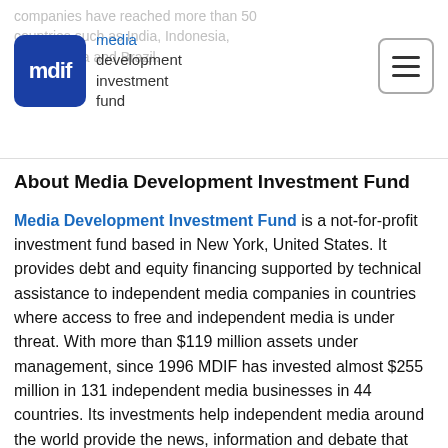companies have reached more than 50 countries such as India, Indonesia, South Africa and Brazil.
About Media Development Investment Fund
Media Development Investment Fund is a not-for-profit investment fund based in New York, United States. It provides debt and equity financing supported by technical assistance to independent media companies in countries where access to free and independent media is under threat. With more than $119 million assets under management, since 1996 MDIF has invested almost $255 million in 131 independent media businesses in 44 countries. Its investments help independent media around the world provide the news, information and debate that people need to build free, thriving societies.